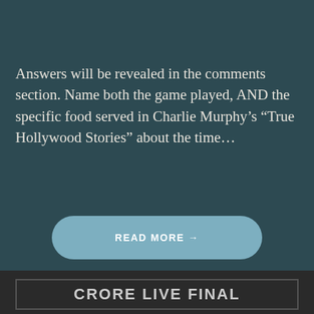Answers will be revealed in the comments section. Name both the game played, AND the specific food served in Charlie Murphy's “True Hollywood Stories” about the time...
READ MORE →
CRORE LIVE FINAL